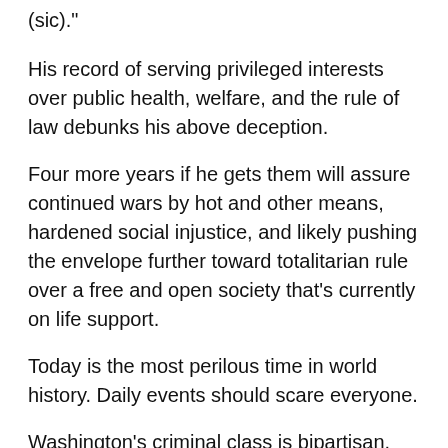(sic)."
His record of serving privileged interests over public health, welfare, and the rule of law debunks his above deception.
Four more years if he gets them will assure continued wars by hot and other means, hardened social injustice, and likely pushing the envelope further toward totalitarian rule over a free and open society that's currently on life support.
Today is the most perilous time in world history. Daily events should scare everyone.
Washington's criminal class is bipartisan.
America is increasingly a totalitarian plutocracy, oligarchy and kleptocracy, not democracy — the latter a notion its ruling class abhors and tolerates